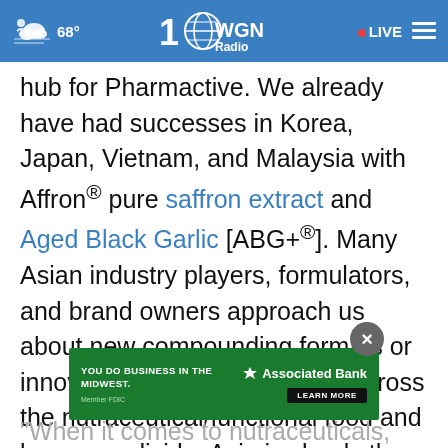68° WGN Radio • LIVE
hub for Pharmactive. We already have had successes in Korea, Japan, Vietnam, and Malaysia with Affron® pure saffron extract and Aged Black Garlic [ABG+®]. Many Asian industry players, formulators, and brand owners approach us about new compounding formats or innovative product concepts to cross the nutraceutical/functional food and beverage divide. Asia is clearly the frontrunner in terms of new i...
[Figure (screenshot): Associated Bank advertisement banner: green background with text 'YOU DO BUSINESS IN THE MIDWEST.' and 'LEARN MORE' button]
"When it comes to nutraceuticals, Asia Pacific is...